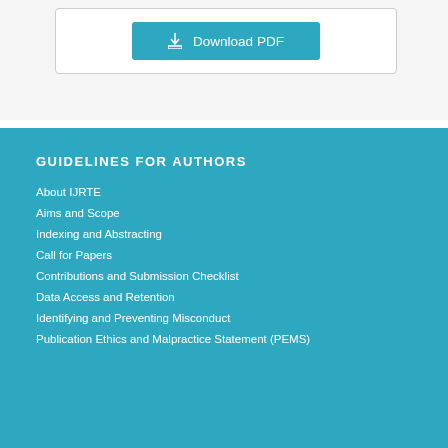[Figure (other): Download PDF button in teal/cyan color with download icon]
GUIDELINES FOR AUTHORS
About IJRTE
Aims and Scope
Indexing and Abstracting
Call for Papers
Contributions and Submission Checklist
Data Access and Retention
Identifying and Preventing Misconduct
Publication Ethics and Malpractice Statement (PEMS)